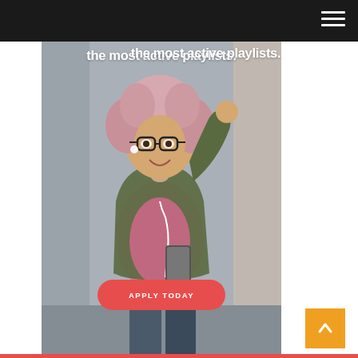the most active playlists.
[Figure (photo): Young woman with pink curly hair, glasses, and earphones dancing while holding a smartphone, wearing a green jacket and pink t-shirt, urban background]
APPLY TODAY